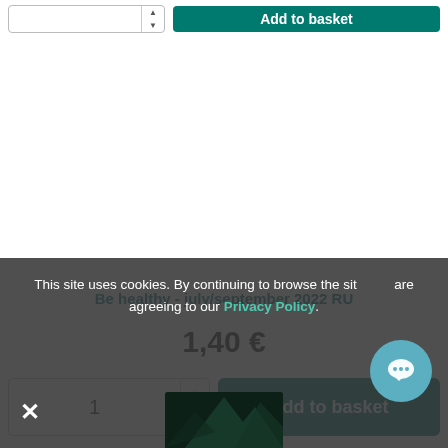[Figure (screenshot): Quantity selector input box with up/down arrows and a teal Add to basket button at top of page (partially visible)]
Be healthy - july/september 2022 RU
1,40 €
[Figure (screenshot): Quantity input box showing 1 with up/down arrow controls and teal Add to basket button]
This site uses cookies. By continuing to browse the site you are agreeing to our Privacy Policy.
[Figure (photo): Partially visible product image at bottom of page showing dark green/teal triangular shapes]